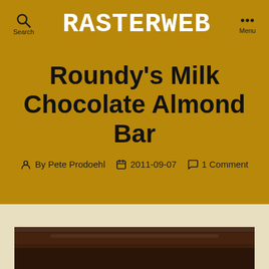Search  RASTERWEB  Menu
Roundy's Milk Chocolate Almond Bar
By Pete Prodoehl  2011-09-07  1 Comment
[Figure (photo): Bottom edge of a photograph of a chocolate bar, partially visible at the bottom of the page]